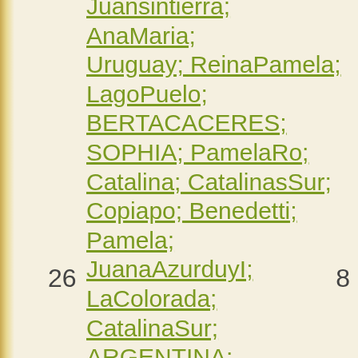Juansintierra; AnaMaria; Uruguay; ReinaPamela; LagoPuelo; BERTACACERES; SOPHIA; PamelaRo; Catalina; CatalinasSur; Copiapo; Benedetti; Pamela; JuanaAzurduyI; LaColorada; CatalinaSur; ARGENTINA; CATALINASSUR; Pilatti; CatalinaLaGrand; Ischilin; PamelaPilatti; IRIARTE; LaPedera; Emiliamariana; BRASIL; Grecia;
26
8